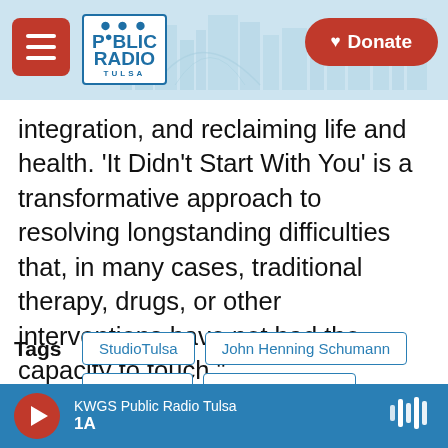[Figure (screenshot): Public Radio Tulsa website header with hamburger menu button, logo, cityscape background, and Donate button]
integration, and reclaiming life and health. 'It Didn't Start With You' is a transformative approach to resolving longstanding difficulties that, in many cases, traditional therapy, drugs, or other interventions have not had the capacity to touch."
Tags: StudioTulsa | John Henning Schumann | Family Life | Child Psychology | Psychology | Biology | Memoir and Autobiography | Genes and Genetics
KWGS Public Radio Tulsa — 1A